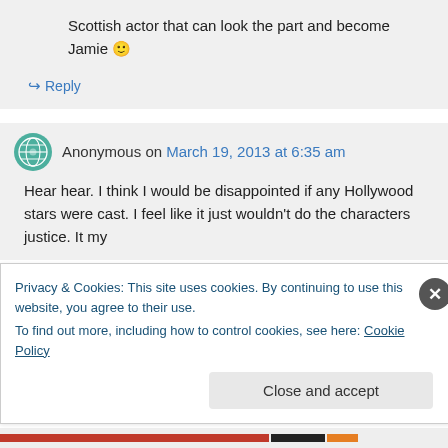Scottish actor that can look the part and become Jamie 🙂
↪ Reply
Anonymous on March 19, 2013 at 6:35 am
Hear hear. I think I would be disappointed if any Hollywood stars were cast. I feel like it just wouldn't do the characters justice. It my
Privacy & Cookies: This site uses cookies. By continuing to use this website, you agree to their use.
To find out more, including how to control cookies, see here: Cookie Policy
Close and accept